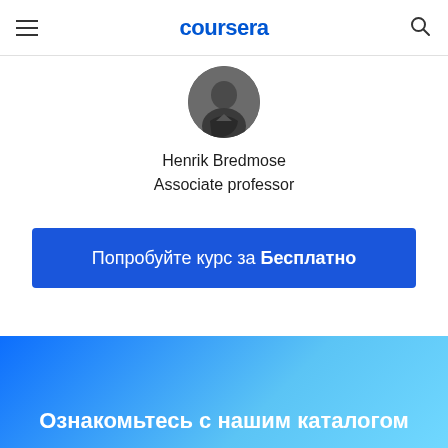coursera
[Figure (photo): Profile photo of Henrik Bredmose, a person wearing a dark jacket, shown as a circular avatar]
Henrik Bredmose
Associate professor
Попробуйте курс за Бесплатно
Ознакомьтесь с нашим каталогом